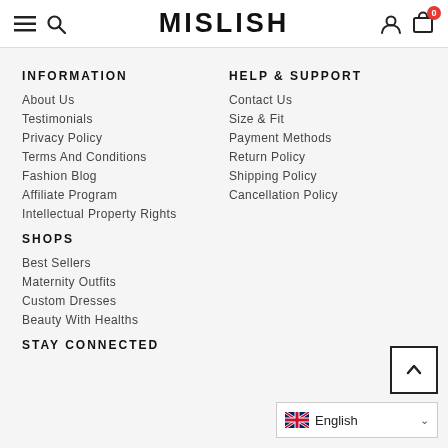MISLISH — navigation header with hamburger menu, search, user icon, cart (0)
INFORMATION
About Us
Testimonials
Privacy Policy
Terms And Conditions
Fashion Blog
Affiliate Program
Intellectual Property Rights
SHOPS
Best Sellers
Maternity Outfits
Custom Dresses
Beauty With Healths
STAY CONNECTED
HELP & SUPPORT
Contact Us
Size & Fit
Payment Methods
Return Policy
Shipping Policy
Cancellation Policy